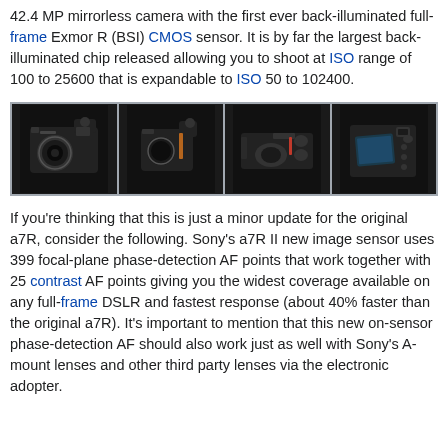42.4 MP mirrorless camera with the first ever back-illuminated full-frame Exmor R (BSI) CMOS sensor. It is by far the largest back-illuminated chip released allowing you to shoot at ISO range of 100 to 25600 that is expandable to ISO 50 to 102400.
[Figure (photo): Four photos of a Sony a7R II camera from different angles: front with lens, side/back without lens, top-down, and rear LCD view]
If you're thinking that this is just a minor update for the original a7R, consider the following. Sony's a7R II new image sensor uses 399 focal-plane phase-detection AF points that work together with 25 contrast AF points giving you the widest coverage available on any full-frame DSLR and fastest response (about 40% faster than the original a7R). It's important to mention that this new on-sensor phase-detection AF should also work just as well with Sony's A-mount lenses and other third party lenses via the electronic adopter.